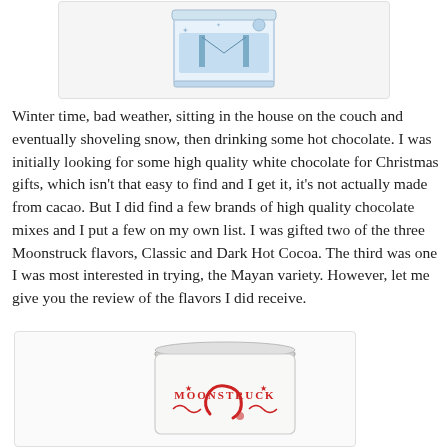[Figure (photo): A decorative blue and white tin with winter/city scene design, partially cropped at top of page]
Winter time, bad weather, sitting in the house on the couch and eventually shoveling snow, then drinking some hot chocolate. I was initially looking for some high quality white chocolate for Christmas gifts, which isn't that easy to find and I get it, it's not actually made from cacao. But I did find a few brands of high quality chocolate mixes and I put a few on my own list. I was gifted two of the three Moonstruck flavors, Classic and Dark Hot Cocoa. The third was one I was most interested in trying, the Mayan variety. However, let me give you the review of the flavors I did receive.
[Figure (photo): A white Moonstruck tin with red lettering and decorative design, partially shown at bottom of page]